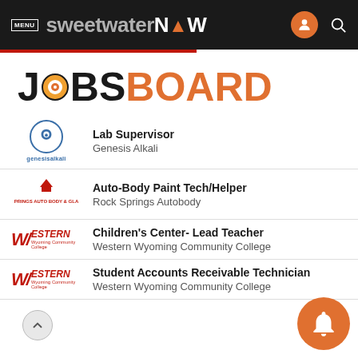MENU sweetwaterNOW
JOBS BOARD
Lab Supervisor — Genesis Alkali
Auto-Body Paint Tech/Helper — Rock Springs Autobody
Children's Center- Lead Teacher — Western Wyoming Community College
Student Accounts Receivable Technician — Western Wyoming Community College